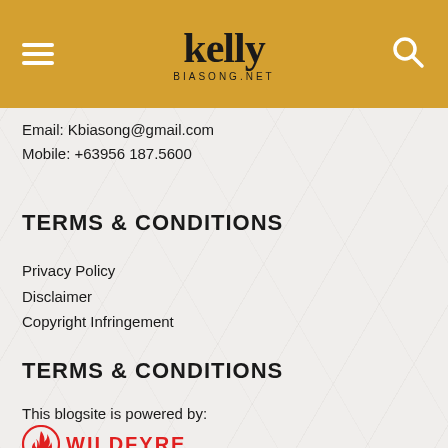[Figure (logo): Kelly Biasong.net website header with golden/amber background, hamburger menu icon on left, stylized 'kelly' logo in center with 'BIASONG.NET' subtitle, and search icon on right]
Email: Kbiasong@gmail.com
Mobile: +63956 187.5600
TERMS & CONDITIONS
Privacy Policy
Disclaimer
Copyright Infringement
TERMS & CONDITIONS
This blogsite is powered by:
[Figure (logo): WildFyre logo: red flame icon circle on left, red uppercase WILDFYRE text on right]